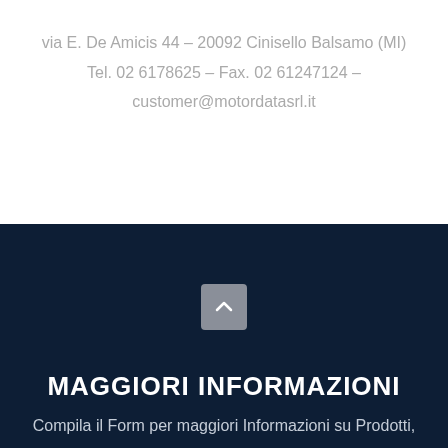via E. De Amicis 44 – 20092 Cinisello Balsamo (MI)
Tel. 02 6178625 – Fax. 02 61247124 –
customer@motordatasrl.it
MAGGIORI INFORMAZIONI
Compila il Form per maggiori Informazioni su Prodotti,